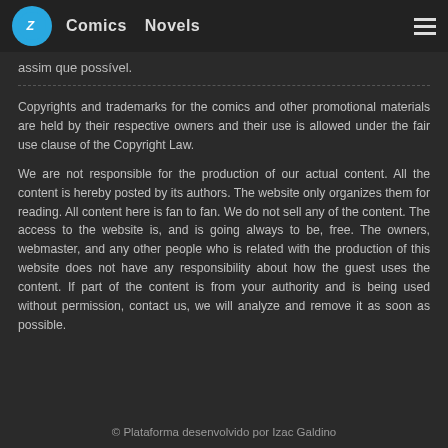Comics  Novels
assim que possível.
Copyrights and trademarks for the comics and other promotional materials are held by their respective owners and their use is allowed under the fair use clause of the Copyright Law.
We are not responsible for the production of our actual content. All the content is hereby posted by its authors. The website only organizes them for reading. All content here is fan to fan. We do not sell any of the content. The access to the website is, and is going always to be, free. The owners, webmaster, and any other people who is related with the production of this website does not have any responsibility about how the guest uses the content. If part of the content is from your authority and is being used without permission, contact us, we will analyze and remove it as soon as possible.
© Plataforma desenvolvido por Izac Galdino